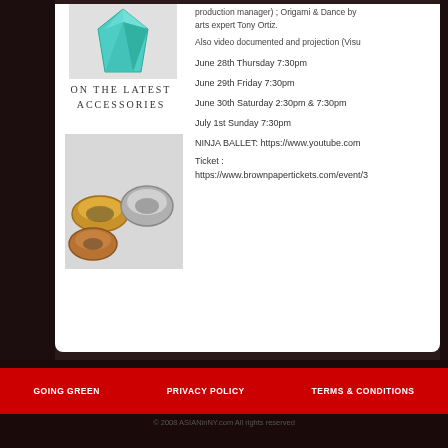[Figure (photo): Advertisement image showing jewelry rings with text 'ON THE LATEST ACCESSORIES' on a grey background with a green gem at top]
production manager) ; Origami & Dance by arts expert Tony Ortiz.
Also video documented and projection (Visu
June 28th Thursday 7:30pm
June 29th Friday 7:30pm
June 30th Saturday 2:30pm & 7:30pm
July 1st Sunday 7:30pm
NINJA BALLET: https://www.youtube.com
Ticket :
https://www.brownpapertickets.com/event/3
GOING GREEN   PRIVACY POLICY   TERMS & CONDITIONS
© 2008 ASIANinNY.com All rights reserved